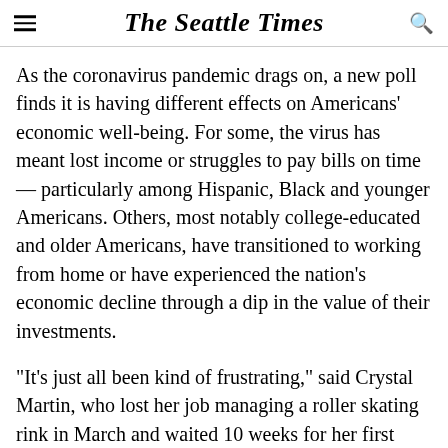The Seattle Times
As the coronavirus pandemic drags on, a new poll finds it is having different effects on Americans' economic well-being. For some, the virus has meant lost income or struggles to pay bills on time — particularly among Hispanic, Black and younger Americans. Others, most notably college-educated and older Americans, have transitioned to working from home or have experienced the nation's economic decline through a dip in the value of their investments.
“It’s just all been kind of frustrating,” said Crystal Martin, who lost her job managing a roller skating rink in March and waited 10 weeks for her first unemployment check. Her husband, an X-ray technician at a Flint hospital, was laid off for about